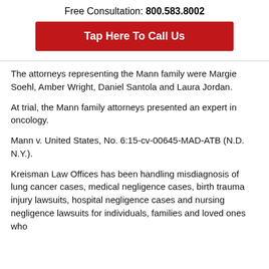Free Consultation: 800.583.8002
[Figure (other): Red button with text 'Tap Here To Call Us']
The attorneys representing the Mann family were Margie Soehl, Amber Wright, Daniel Santola and Laura Jordan.
At trial, the Mann family attorneys presented an expert in oncology.
Mann v. United States, No. 6:15-cv-00645-MAD-ATB (N.D. N.Y.).
Kreisman Law Offices has been handling misdiagnosis of lung cancer cases, medical negligence cases, birth trauma injury lawsuits, hospital negligence cases and nursing negligence lawsuits for individuals, families and loved ones who have been harmed or injured as a result of the...